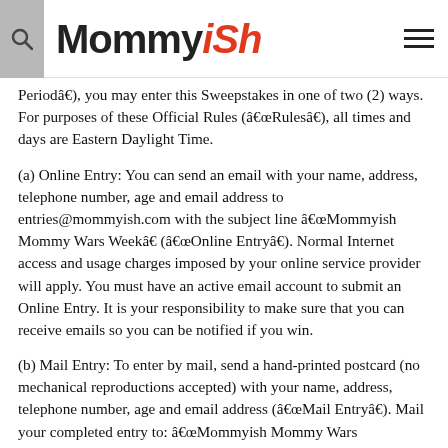Mommyish
Periodâ€), you may enter this Sweepstakes in one of two (2) ways. For purposes of these Official Rules (â€œRulesâ€), all times and days are Eastern Daylight Time.
(a) Online Entry: You can send an email with your name, address, telephone number, age and email address to entries@mommyish.com with the subject line â€œMommyish Mommy Wars Weekâ€ (â€œOnline Entryâ€). Normal Internet access and usage charges imposed by your online service provider will apply. You must have an active email account to submit an Online Entry. It is your responsibility to make sure that you can receive emails so you can be notified if you win.
(b) Mail Entry: To enter by mail, send a hand-printed postcard (no mechanical reproductions accepted) with your name, address, telephone number, age and email address (â€œMail Entryâ€). Mail your completed entry to: â€œMommyish Mommy Wars